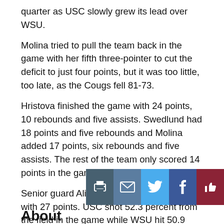quarter as USC slowly grew its lead over WSU.
Molina tried to pull the team back in the game with her fifth three-pointer to cut the deficit to just four points, but it was too little, too late, as the Cougs fell 81-73.
Hristova finished the game with 24 points, 10 rebounds and five assists. Swedlund had 18 points and five rebounds and Molina added 17 points, six rebounds and five assists. The rest of the team only scored 14 points in the game.
Senior guard Aliyah Mazyck led the Trojans with 27 points. USC shot 52.3 percent from the field in the game while WSU hit 50.9 percent.
WSU will look to end its losing streak 7 p.m. Thursday when they return home to face Arizona State at Beasley Coliseum.
[Figure (other): Social sharing buttons: print, email, Twitter, Facebook, recommend]